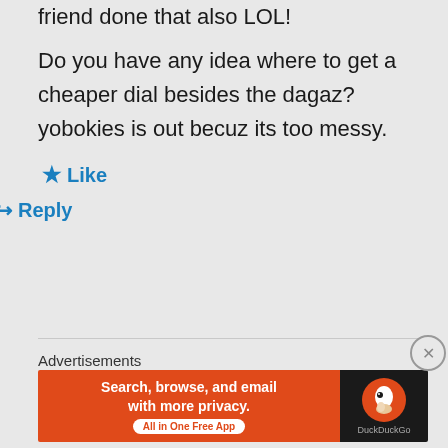friend done that also LOL!
Do you have any idea where to get a cheaper dial besides the dagaz? yobokies is out becuz its too messy.
★ Like
↳ Reply
Advertisements
[Figure (screenshot): DuckDuckGo advertisement banner: orange background with text 'Search, browse, and email with more privacy. All in One Free App' and DuckDuckGo logo on dark background]